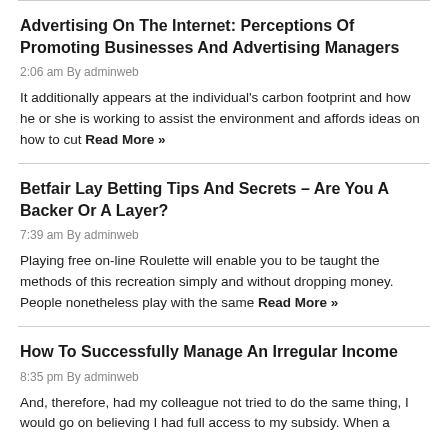Advertising On The Internet: Perceptions Of Promoting Businesses And Advertising Managers
2:06 am By adminweb
It additionally appears at the individual's carbon footprint and how he or she is working to assist the environment and affords ideas on how to cut Read More »
Betfair Lay Betting Tips And Secrets – Are You A Backer Or A Layer?
7:39 am By adminweb
Playing free on-line Roulette will enable you to be taught the methods of this recreation simply and without dropping money. People nonetheless play with the same Read More »
How To Successfully Manage An Irregular Income
8:35 pm By adminweb
And, therefore, had my colleague not tried to do the same thing, I would go on believing I had full access to my subsidy. When a